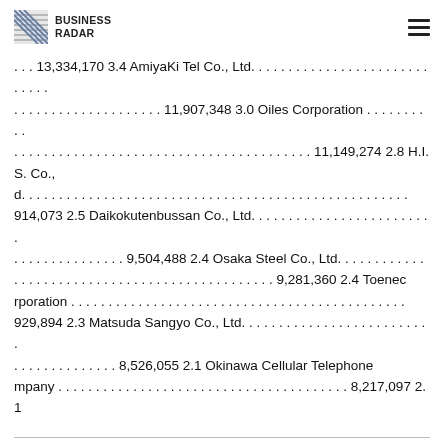BUSINESS RADAR
... 13,334,170 3.4 AmiyaKi Tel Co., Ltd. ................................ 11,907,348 3.0 Oiles Corporation .......... ......................................... 11,149,274 2.8 H.I.S. Co., d. ........................................................ 914,073 2.5 Daikokutenbussan Co., Ltd. .................................. 9,504,488 2.4 Osaka Steel Co., Ltd. ........... ........................................ 9,281,360 2.4 Toenec Corporation .................................................. 929,894 2.3 Matsuda Sangyo Co., Ltd. ..................................... 8,526,055 2.1 Okinawa Cellular Telephone mpany ............................................. 8,217,097 2.1
ge 7
PAN SMALLER CAPITALIZATION FUND, INC. REPORT OF DEPENDENT REGISTERED PUBLIC ACCOUNTING FIRM To the Board of Directors and Shareholders of Japan Smaller Capitalization Fund,